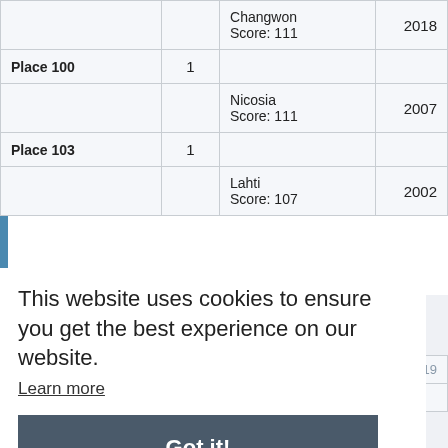|  | 1 | Changwon Score: 111 | 2018 |
| --- | --- | --- | --- |
| Place 100 | 1 |  |  |
|  |  | Nicosia Score: 111 | 2007 |
| Place 103 | 1 |  |  |
|  |  | Lahti Score: 107 | 2002 |
World Cup
Participations: 39
| Place 10 | 1 | Munich | 2019 |
| --- | --- | --- | --- |
| Place 10 | 1 |  |  |
This website uses cookies to ensure you get the best experience on our website.
Learn more
Got it!